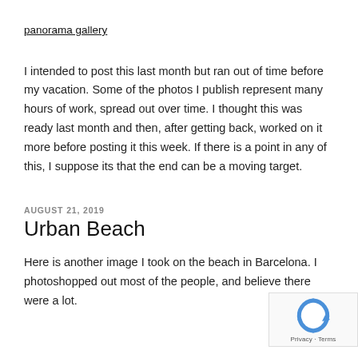panorama gallery
I intended to post this last month but ran out of time before my vacation. Some of the photos I publish represent many hours of work, spread out over time. I thought this was ready last month and then, after getting back, worked on it more before posting it this week. If there is a point in any of this, I suppose its that the end can be a moving target.
AUGUST 21, 2019
Urban Beach
Here is another image I took on the beach in Barcelona. I photoshopped out most of the people, and believe there were a lot.
[Figure (logo): reCAPTCHA logo with Privacy - Terms text]